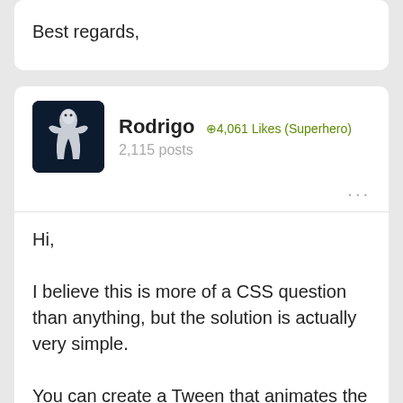Best regards,
Rodrigo  +4,061 Likes (Superhero)
2,115 posts
Hi,

I believe this is more of a CSS question than anything, but the solution is actually very simple.

You can create a Tween that animates the element's width to 100% and then reverse that instance, like this:
[Figure (screenshot): Green bar at the bottom indicating a code block]